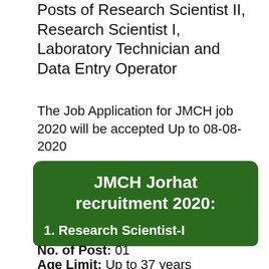Posts of Research Scientist II, Research Scientist I, Laboratory Technician and Data Entry Operator
The Job Application for JMCH job 2020 will be accepted Up to 08-08-2020
JMCH Jorhat recruitment 2020: Vacancy Details
1. Research Scientist-I
No. of Post: 01
Age Limit: Up to 37 years